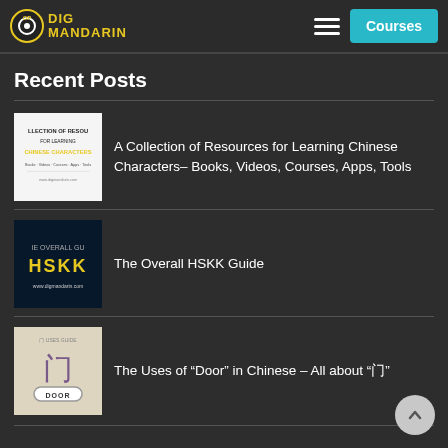Dig Mandarin — Courses
Recent Posts
[Figure (illustration): Book cover thumbnail: A Collection of Resources for Learning Chinese Characters – Books, Videos, Courses, Apps, Tools]
A Collection of Resources for Learning Chinese Characters– Books, Videos, Courses, Apps, Tools
[Figure (illustration): Book cover thumbnail: The Overall HSKK Guide with yellow HSKK text on dark background]
The Overall HSKK Guide
[Figure (illustration): Thumbnail showing Chinese character 门 (door) with DOOR label]
The Uses of “Door” in Chinese – All about “门”